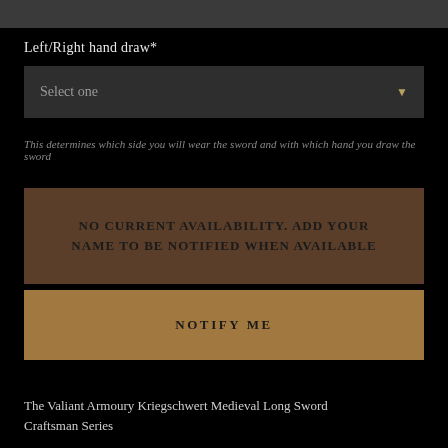Left/Right hand draw*
[Figure (screenshot): Dropdown select box with placeholder text 'Select one' and a small down-arrow icon on the right, dark grey background]
This determines which side you will wear the sword and with which hand you draw the sword
NO CURRENT AVAILABILITY. ADD YOUR NAME TO BE NOTIFIED WHEN AVAILABLE
NOTIFY ME
The Valiant Armoury Kriegschwert Medieval Long Sword Craftsman Series